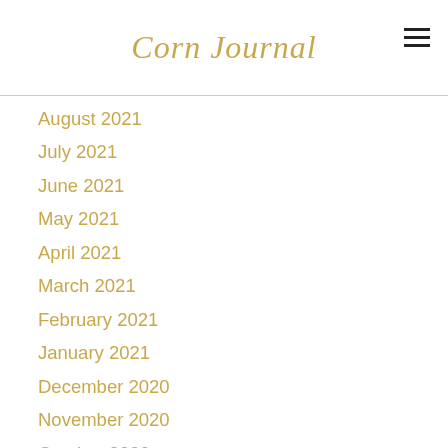Corn Journal
August 2021
July 2021
June 2021
May 2021
April 2021
March 2021
February 2021
January 2021
December 2020
November 2020
October 2020
September 2020
August 2020
July 2020
June 2020
May 2020
April 2020